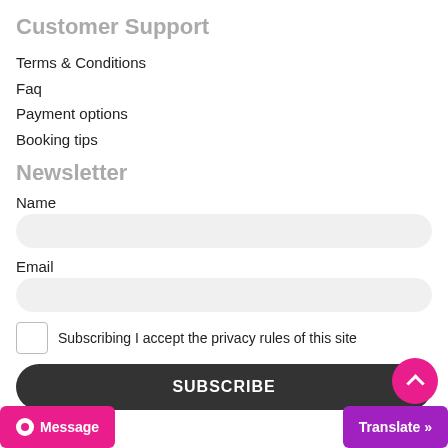Customer Support
Terms & Conditions
Faq
Payment options
Booking tips
Newsletter
Name
Email
Subscribing I accept the privacy rules of this site
SUBSCRIBE
Message
Translate »